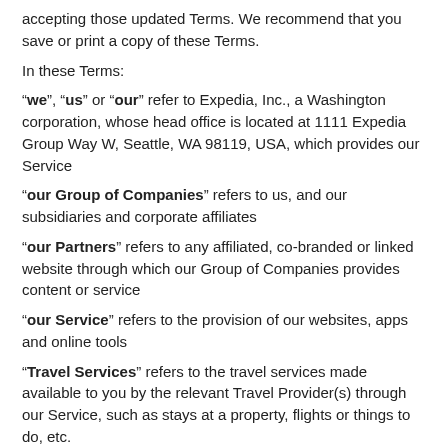accepting those updated Terms. We recommend that you save or print a copy of these Terms.
In these Terms:
"we", "us" or "our" refer to Expedia, Inc., a Washington corporation, whose head office is located at 1111 Expedia Group Way W, Seattle, WA 98119, USA, which provides our Service
"our Group of Companies" refers to us, and our subsidiaries and corporate affiliates
"our Partners" refers to any affiliated, co-branded or linked website through which our Group of Companies provides content or service
"our Service" refers to the provision of our websites, apps and online tools
"Travel Services" refers to the travel services made available to you by the relevant Travel Provider(s) through our Service, such as stays at a property, flights or things to do, etc.
"Travel Provider" refers to the travel supplier making available the Travel Services to you through our Service
"you" refers to you, the traveller, using our Service or making a booking with our Service.
Please read these Terms carefully.
Section 1 Rules and Restrictions